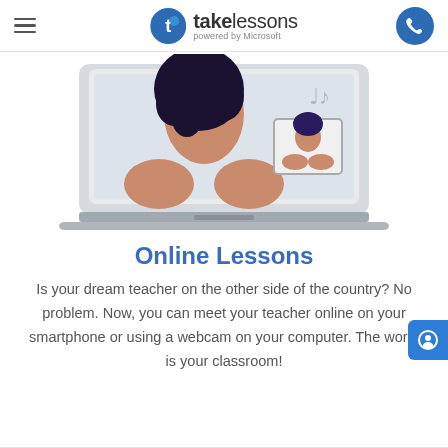takelessons powered by Microsoft
[Figure (illustration): Illustration of a person viewed from behind on a laptop screen during an online lesson, with a video call inset showing another person's face]
Online Lessons
Is your dream teacher on the other side of the country? No problem. Now, you can meet your teacher online on your smartphone or using a webcam on your computer. The world is your classroom!